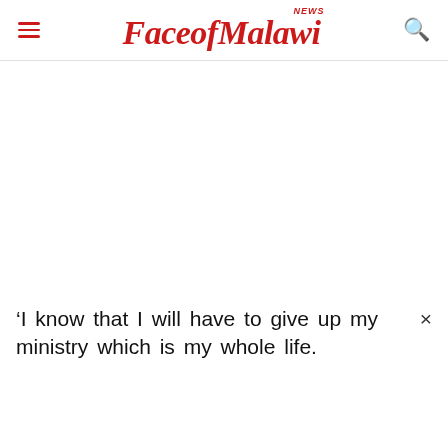FaceofMalawi NEWS
[Figure (photo): Large blank/white image area below the header, representing an article image placeholder]
'I know that I will have to give up my ministry which is my whole life.
×